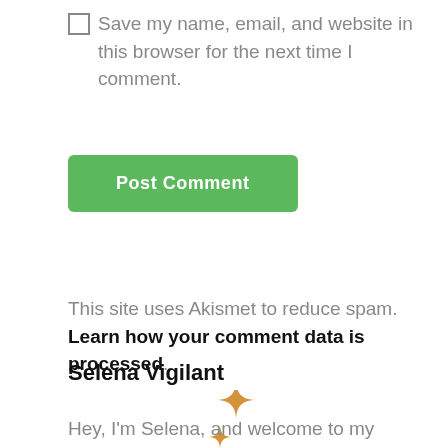Save my name, email, and website in this browser for the next time I comment.
Post Comment
This site uses Akismet to reduce spam. Learn how your comment data is processed.
Selena Vigilant
[Figure (illustration): Two golden four-pointed sparkle/star decorative icons]
Hey, I'm Selena, and welcome to my blog! I